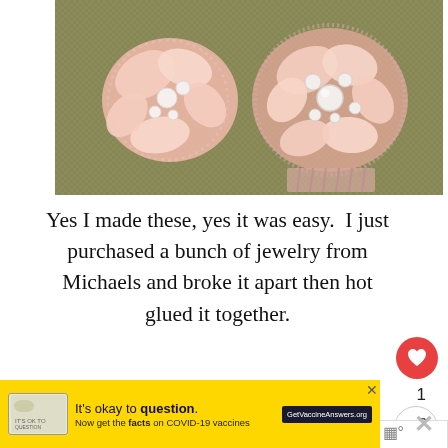[Figure (photo): Close-up photo of two handmade floral hair combs decorated with pink/pearl beads and sparkly rhinestones on a green woven background]
Yes I made these, yes it was easy.  I just purchased a bunch of jewelry from Michaels and broke it apart then hot glued it together.
So what is this weeks plan?  Actual fun.  Basically after today is complete I will have my grad school stuff under control, the wedding items finalized, and a plan of attack for th
[Figure (infographic): WHAT'S NEXT arrow label with thumbnail image and text #SummerTheme Adventure Week]
[Figure (infographic): Advertisement banner: It's okay to question. Now get the facts on COVID-19 vaccines - GetVaccineAnswers.org]